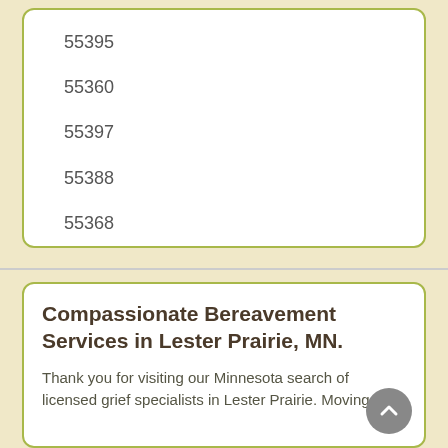55395
55360
55397
55388
55368
Compassionate Bereavement Services in Lester Prairie, MN.
Thank you for visiting our Minnesota search of licensed grief specialists in Lester Prairie.  Moving